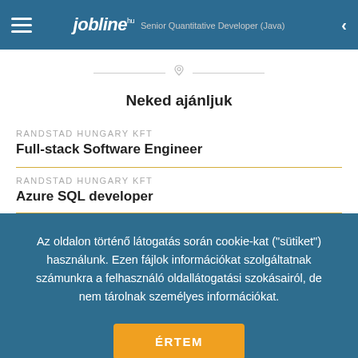jobline.hu   Senior Quantitative Developer (Java)
Neked ajánljuk
RANDSTAD HUNGARY KFT
Full-stack Software Engineer
RANDSTAD HUNGARY KFT
Azure SQL developer
Az oldalon történő látogatás során cookie-kat ("sütiket") használunk. Ezen fájlok információkat szolgáltatnak számunkra a felhasználó oldallátogatási szokásairól, de nem tárolnak személyes információkat.
ÉRTEM